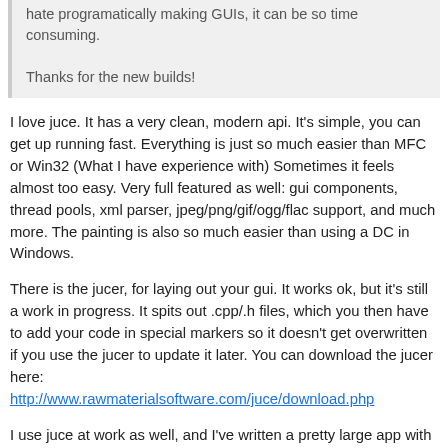hate programatically making GUIs, it can be so time consuming.

Thanks for the new builds!
I love juce. It has a very clean, modern api. It's simple, you can get up running fast. Everything is just so much easier than MFC or Win32 (What I have experience with) Sometimes it feels almost too easy. Very full featured as well: gui components, thread pools, xml parser, jpeg/png/gif/ogg/flac support, and much more. The painting is also so much easier than using a DC in Windows.
There is the jucer, for laying out your gui. It works ok, but it's still a work in progress. It spits out .cpp/.h files, which you then have to add your code in special markers so it doesn't get overwritten if you use the jucer to update it later. You can download the jucer here:
http://www.rawmaterialsoftware.com/juce/download.php
I use juce at work as well, and I've written a pretty large app with it. KomodoDrop is my spare time project. My only